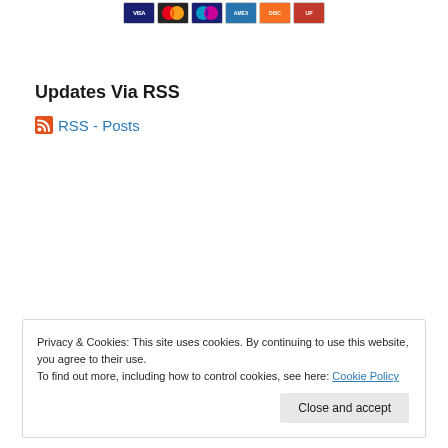[Figure (other): Row of payment card icons: Visa, Mastercard, Maestro, American Express, Discover, UnionPay]
Updates Via RSS
RSS - Posts
Privacy & Cookies: This site uses cookies. By continuing to use this website, you agree to their use. To find out more, including how to control cookies, see here: Cookie Policy
Close and accept